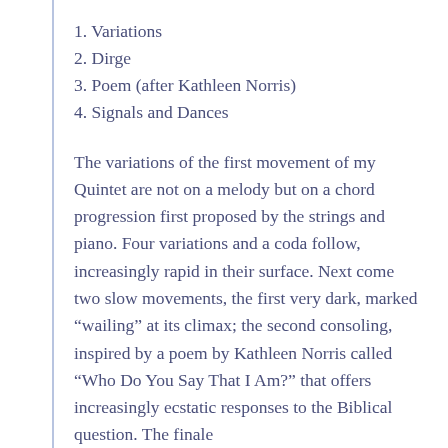1. Variations
2. Dirge
3. Poem (after Kathleen Norris)
4. Signals and Dances
The variations of the first movement of my Quintet are not on a melody but on a chord progression first proposed by the strings and piano. Four variations and a coda follow, increasingly rapid in their surface. Next come two slow movements, the first very dark, marked “wailing” at its climax; the second consoling, inspired by a poem by Kathleen Norris called “Who Do You Say That I Am?” that offers increasingly ecstatic responses to the Biblical question. The finale